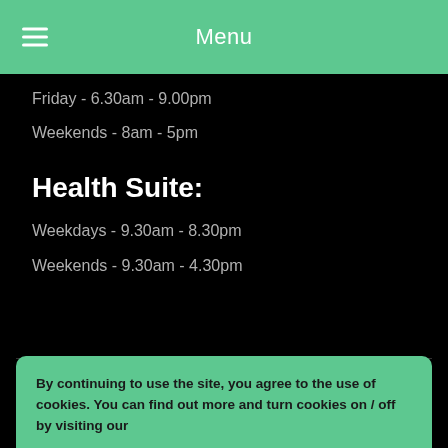Menu
Friday - 6.30am - 9.00pm
Weekends - 8am - 5pm
Health Suite:
Weekdays - 9.30am - 8.30pm
Weekends - 9.30am - 4.30pm
Copyright © Lordswood Leisure Centre
A website by Zen Media Group. Hosted by The...
Privacy & Cookie Policy
By continuing to use the site, you agree to the use of cookies. You can find out more and turn cookies on / off by visiting our privacy policy  Accept